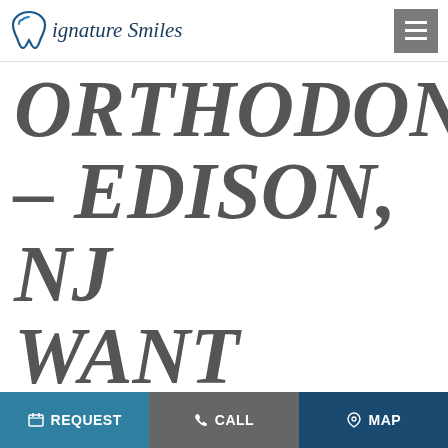Signature Smiles
ORTHODONTI – EDISON, NJ WANT STRAIGHTER
REQUEST   CALL   MAP